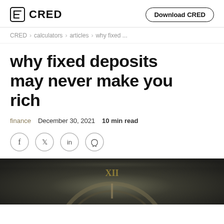CRED | Download CRED
CRED > calculators > articles > why fixed ...
why fixed deposits may never make you rich
finance   December 30, 2021   10 min read
[Figure (other): Social share icons: Facebook, Twitter, LinkedIn, WhatsApp]
[Figure (photo): Dark moody photo of a vintage clock face]